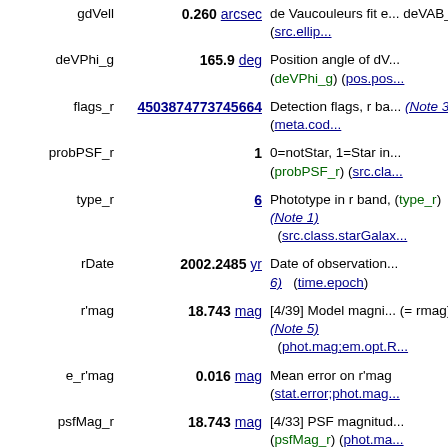| Name | Value | Description |
| --- | --- | --- |
| gdVell | 0.260 arcsec | de Vaucouleurs fit e... deVAB_g) (src.ellip... |
| deVPhi_g | 165.9 deg | Position angle of dV... (deVPhi_g) (pos.pos... |
| flags_r | 4503874773745664 | Detection flags, r ba... (Note 3) (meta.cod... |
| probPSF_r | 1 | 0=notStar, 1=Star in... (probPSF_r) (src.cla... |
| type_r | 6 | Phototype in r band, (type_r) (Note 1) (src.class.starGalax... |
| rDate | 2002.2485 yr | Date of observation... 6) (time.epoch) |
| r'mag | 18.743 mag | [4/39] Model magni... (= rmag) (Note 5) (phot.mag;em.opt.R... |
| e_r'mag | 0.016 mag | Mean error on r'mag (stat.error;phot.mag... |
| psfMag_r | 18.743 mag | [4/33] PSF magnitud... (psfMag_r) (phot.ma... |
| psfMagErr_r | 0.022 mag | Mean error on rpma... (psfMagErr_r) (stat.... |
| petroMag_r | 18.791 mag | [4/43] Petrosian m... |